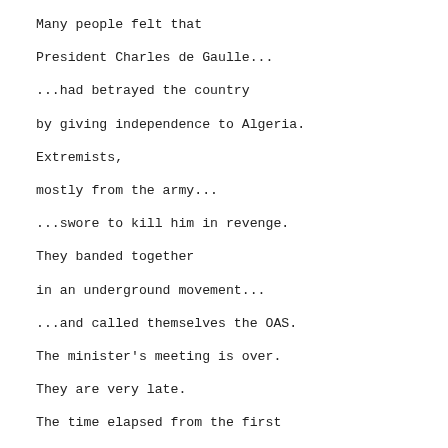Many people felt that
President Charles de Gaulle...
...had betrayed the country
by giving independence to Algeria.
Extremists,
mostly from the army...
...swore to kill him in revenge.
They banded together
in an underground movement...
...and called themselves the OAS.
The minister's meeting is over.
They are very late.
The time elapsed from the first
to the last shot was seven seconds.